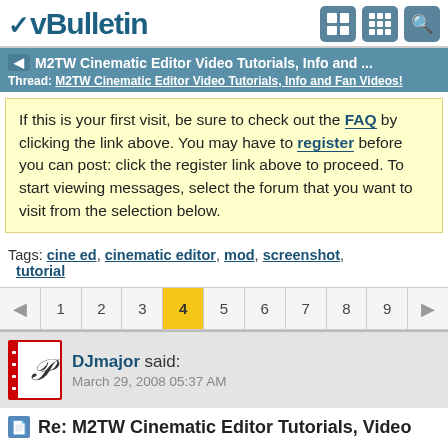vBulletin
M2TW Cinematic Editor Video Tutorials, Info and ...
Thread: M2TW Cinematic Editor Video Tutorials, Info and Fan Videos!
If this is your first visit, be sure to check out the FAQ by clicking the link above. You may have to register before you can post: click the register link above to proceed. To start viewing messages, select the forum that you want to visit from the selection below.
Tags: cine ed, cinematic editor, mod, screenshot, tutorial
1 2 3 4 5 6 7 8 9
DJmajor said: March 29, 2008 05:37 AM
Re: M2TW Cinematic Editor Tutorials, Video